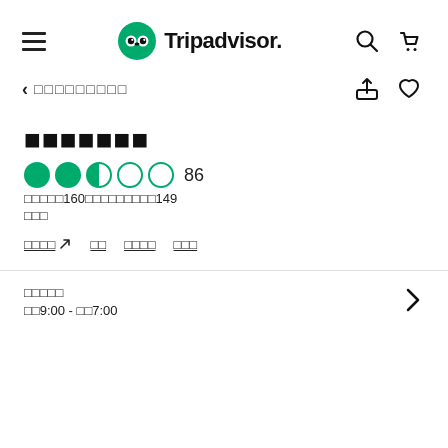Tripadvisor
<
●●◐○○ 86
　　　160　　　　　　　149
↗
9:00 - 　7:00